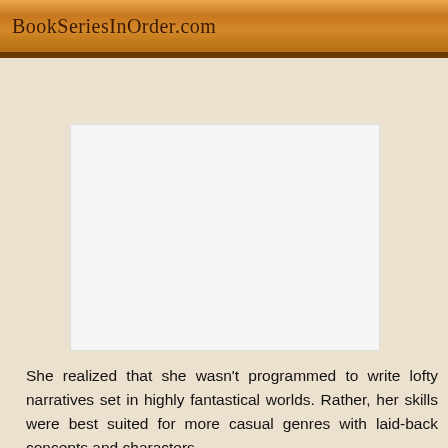BookSeriesInOrder.com
[Figure (other): Advertisement or image placeholder (white rectangle)]
She realized that she wasn't programmed to write lofty narratives set in highly fantastical worlds. Rather, her skills were best suited for more casual genres with laid-back concepts and characters.
Caryn started out in self-publishing. She is a self-confessed control freak and she enjoys the idea of having final say on everything from the font to the cover